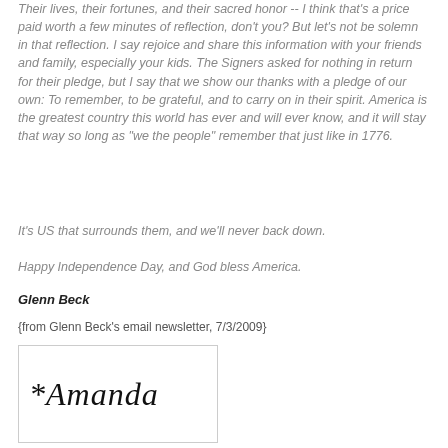Their lives, their fortunes, and their sacred honor -- I think that's a price paid worth a few minutes of reflection, don't you? But let's not be solemn in that reflection. I say rejoice and share this information with your friends and family, especially your kids. The Signers asked for nothing in return for their pledge, but I say that we show our thanks with a pledge of our own: To remember, to be grateful, and to carry on in their spirit. America is the greatest country this world has ever and will ever know, and it will stay that way so long as "we the people" remember that just like in 1776.
It's US that surrounds them, and we'll never back down.
Happy Independence Day, and God bless America.
Glenn Beck
{from Glenn Beck's email newsletter, 7/3/2009}
[Figure (illustration): Handwritten signature reading '*Amanda' in cursive script inside a bordered box]